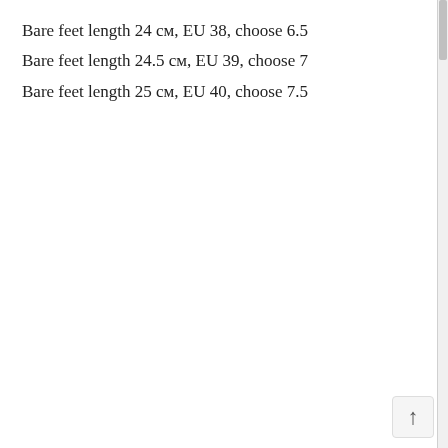Bare feet length 24 см, EU 38, choose 6.5
Bare feet length 24.5 см, EU 39, choose 7
Bare feet length 25 см, EU 40, choose 7.5